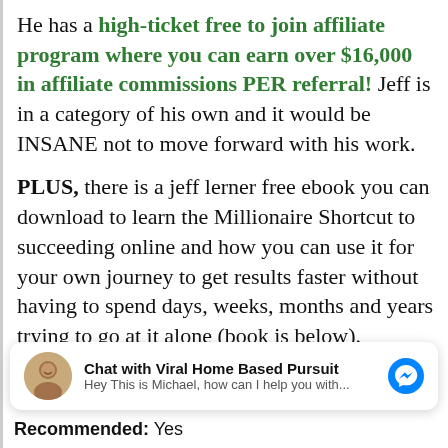He has a high-ticket free to join affiliate program where you can earn over $16,000 in affiliate commissions PER referral! Jeff is in a category of his own and it would be INSANE not to move forward with his work.
PLUS, there is a jeff lerner free ebook you can download to learn the Millionaire Shortcut to succeeding online and how you can use it for your own journey to get results faster without having to spend days, weeks, months and years trying to go at it alone (book is below).
Chat with Viral Home Based Pursuit
Hey This is Michael, how can I help you with...
Recommended: Yes